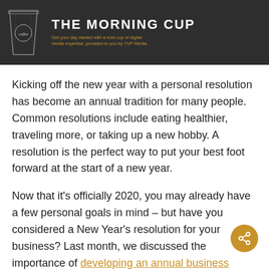[Figure (illustration): Dark banner with illustrated coffee cup on left and 'THE MORNING CUP' title text on right with subtitle 'Get your day started with a bold cup of digital media expertise, provided to you by YUP Media.']
Kicking off the new year with a personal resolution has become an annual tradition for many people. Common resolutions include eating healthier, traveling more, or taking up a new hobby. A resolution is the perfect way to put your best foot forward at the start of a new year.
Now that it's officially 2020, you may already have a few personal goals in mind – but have you considered a New Year's resolution for your business? Last month, we discussed the importance of developing an annual business